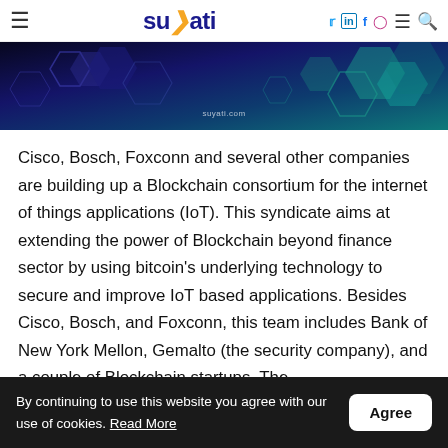suyati — navigation header with hamburger menu, logo, social icons (twitter, linkedin, facebook, instagram), menu, search
[Figure (illustration): Dark blue/teal hexagonal pattern banner with suyati.com watermark text]
Cisco, Bosch, Foxconn and several other companies are building up a Blockchain consortium for the internet of things applications (IoT). This syndicate aims at extending the power of Blockchain beyond finance sector by using bitcoin's underlying technology to secure and improve IoT based applications. Besides Cisco, Bosch, and Foxconn, this team includes Bank of New York Mellon, Gemalto (the security company), and a couple of Blockchain startups. The
By continuing to use this website you agree with our use of cookies. Read More | Agree